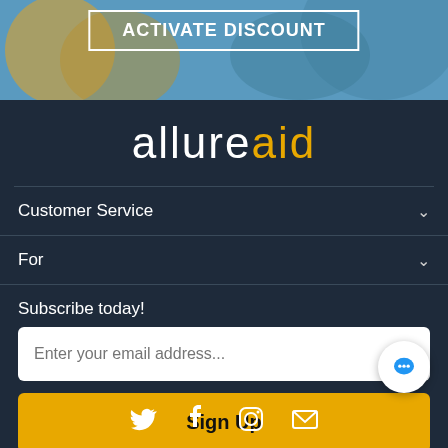[Figure (photo): Top banner photo showing glasses/eyewear with a golden yellow background and blue-teal sky, with an ACTIVATE DISCOUNT button overlay]
allureaid
Customer Service
For
Subscribe today!
Enter your email address...
Sign Up
[Figure (illustration): Social media icons: Twitter, Facebook, Instagram, Email]